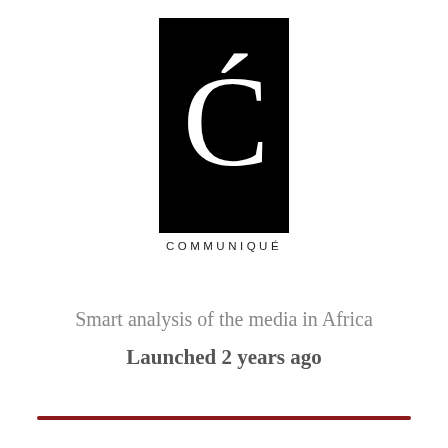[Figure (logo): Communiqué logo: black rectangle with a large white C with an accent mark, and the text COMMUNIQUÉ below in small caps]
Smart analysis of the media in Africa
Launched 2 years ago
Type your email…   Subscribe
Let me read it first >